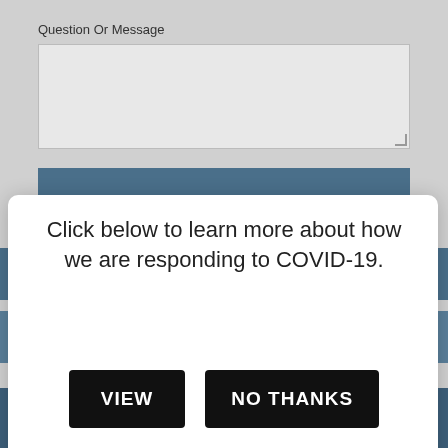Question Or Message
[Figure (screenshot): Text area input box for question or message, light gray background]
[Figure (screenshot): Blue submit button bar]
Click below to learn more about how we are responding to COVID-19.
VIEW
NO THANKS
Perforated Eardrum
Surfer's Ear/Exostosis
CALL  |   TEXT